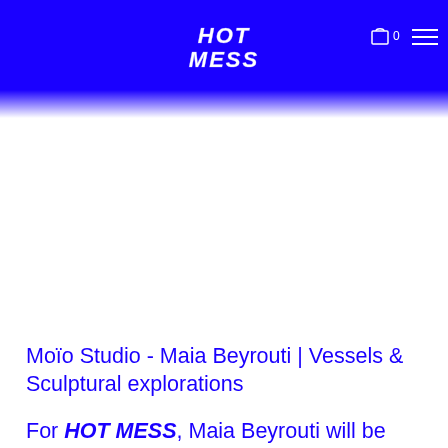HOT MESS
Moïo Studio - Maia Beyrouti | Vessels & Sculptural explorations
For HOT MESS, Maia Beyrouti will be